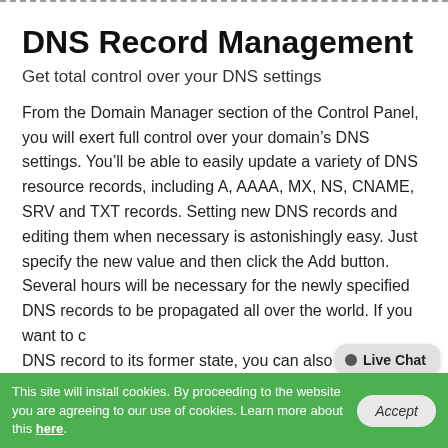DNS Record Management
Get total control over your DNS settings
From the Domain Manager section of the Control Panel, you will exert full control over your domain’s DNS settings. You’ll be able to easily update a variety of DNS resource records, including A, AAAA, MX, NS, CNAME, SRV and TXT records. Setting new DNS records and editing them when necessary is astonishingly easy. Just specify the new value and then click the Add button. Several hours will be necessary for the newly specified DNS records to be propagated all over the world. If you want to convert a DNS record to its former state, you can also achieve that
This site will install cookies. By proceeding to the website you are agreeing to our use of cookies. Learn more about this here.